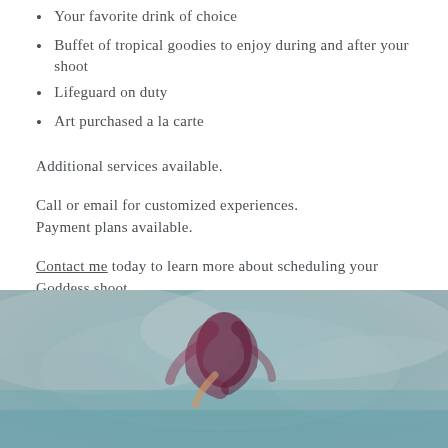Your favorite drink of choice
Buffet of tropical goodies to enjoy during and after your shoot
Lifeguard on duty
Art purchased a la carte
Additional services available.
Call or email for customized experiences.
Payment plans available.
Contact me today to learn more about scheduling your Goddess shoot.
[Figure (photo): A person with flowing dark red/maroon fabric or hair visible, set against a blurred teal/grey cloudy or water background, suggesting an outdoor water or sky setting.]